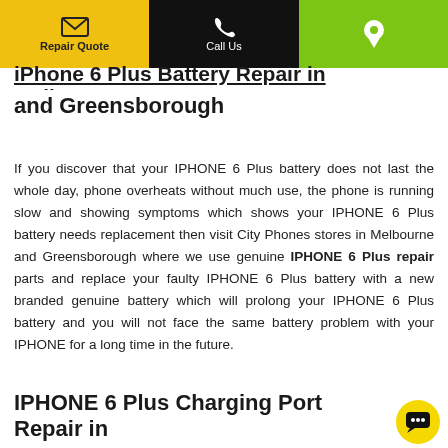Repair Quote | Call Us | [Location]
iPhone 6 Plus Battery Repair in Melbourne and Greensborough
If you discover that your IPHONE 6 Plus battery does not last the whole day, phone overheats without much use, the phone is running slow and showing symptoms which shows your IPHONE 6 Plus battery needs replacement then visit City Phones stores in Melbourne and Greensborough where we use genuine IPHONE 6 Plus repair parts and replace your faulty IPHONE 6 Plus battery with a new branded genuine battery which will prolong your IPHONE 6 Plus battery and you will not face the same battery problem with your IPHONE for a long time in the future.
IPHONE 6 Plus Charging Port Repair in Melbourne and Greensborough